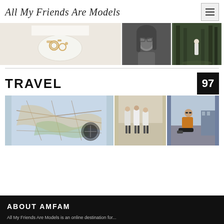All My Friends Are Models
[Figure (photo): Three photos in a horizontal strip: jewelry/rings on a white plate, close-up black-and-white portrait of woman with glasses, and woman in white dress in a dark forest]
TRAVEL
[Figure (photo): Three travel photos: a detailed map with compass, group of people standing in a desert/beach landscape, and a woman sitting in front of a building]
ABOUT AMFAM
All My Friends Are Models is an online destination for...